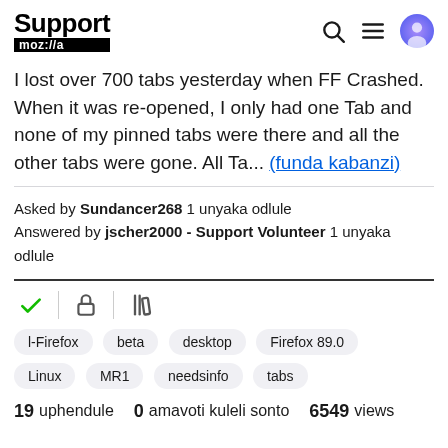Support mozilla
I lost over 700 tabs yesterday when FF Crashed. When it was re-opened, I only had one Tab and none of my pinned tabs were there and all the other tabs were gone. All Ta... (funda kabanzi)
Asked by Sundancer268 1 unyaka odlule
Answered by jscher2000 - Support Volunteer 1 unyaka odlule
[Figure (other): Row of icons: green checkmark, lock/security icon, library/books icon]
l-Firefox
beta
desktop
Firefox 89.0
Linux
MR1
needsinfo
tabs
19 uphendule   0 amavoti kuleli sonto   6549 views